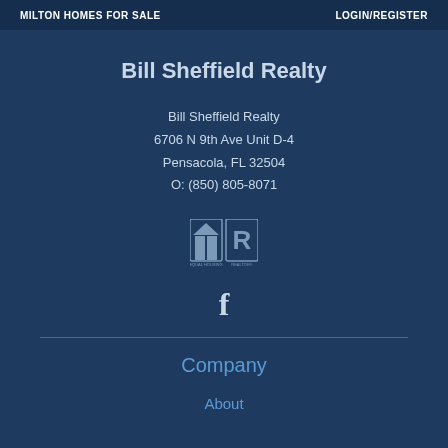MILTON HOMES FOR SALE    LOGIN/REGISTER
Bill Sheffield Realty
Bill Sheffield Realty
6706 N 9th Ave Unit D-4
Pensacola, FL 32504
O: (850) 805-8071
[Figure (logo): Equal Housing Opportunity and REALTOR logos]
[Figure (logo): Facebook social media icon]
Company
About